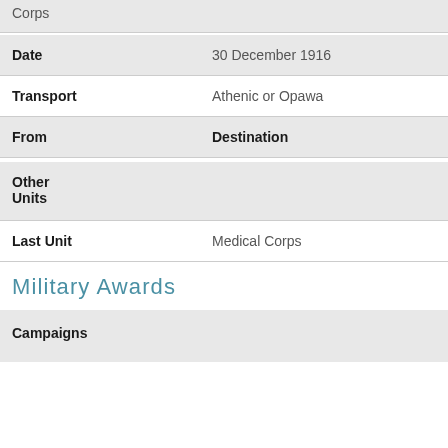| Corps |  |
| Date | 30 December 1916 |
| Transport | Athenic or Opawa |
| From | Destination |
| Other
Units |  |
| Last Unit | Medical Corps |
Military Awards
| Campaigns |  |